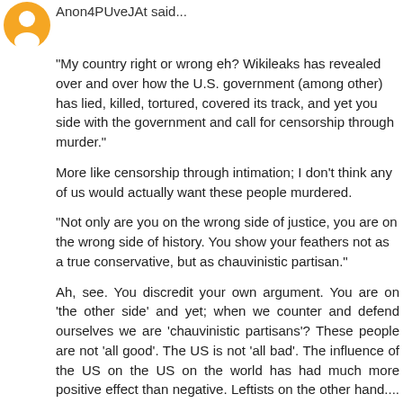[Figure (illustration): Orange circular avatar icon with a white silhouette figure inside]
Anon4PUveJAt said...
"My country right or wrong eh? Wikileaks has revealed over and over how the U.S. government (among other) has lied, killed, tortured, covered its track, and yet you side with the government and call for censorship through murder."
More like censorship through intimation; I don't think any of us would actually want these people murdered.
"Not only are you on the wrong side of justice, you are on the wrong side of history. You show your feathers not as a true conservative, but as chauvinistic partisan."
Ah, see. You discredit your own argument. You are on 'the other side' and yet; when we counter and defend ourselves we are 'chauvinistic partisans'? These people are not 'all good'. The US is not 'all bad'. The influence of the US on the US on the world has had much more positive effect than negative. Leftists on the other hand.... what, a 100 million at least murdered?
Reply